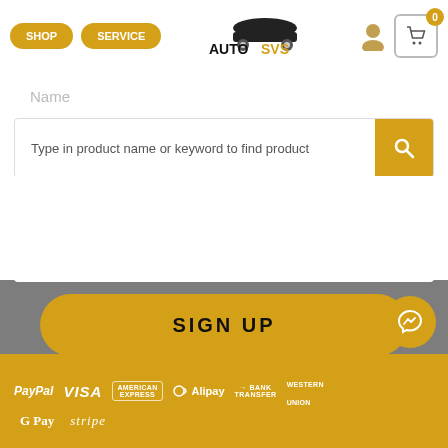SHOP | SERVICE | AUTOSVS | user icon | cart 0
Name
Type in product name or keyword to find product
SIGN UP
Join our 1,094 subscribers and get OEM technical tips and tricks delivered to your inbox each month.
PayPal VISA AMERICAN EXPRESS Alipay BANK TRANSFER WESTERN UNION G Pay stripe